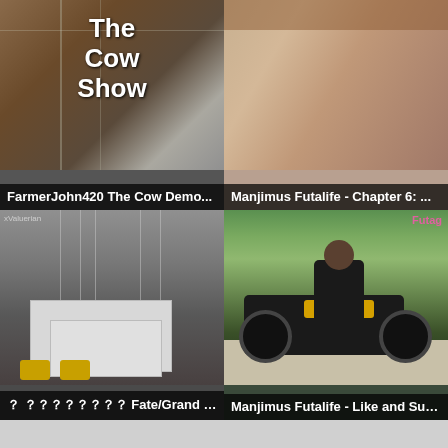[Figure (screenshot): Top-left thumbnail: The Cow Show video thumbnail with text overlay]
FarmerJohn420 The Cow Demo...
[Figure (screenshot): Top-right thumbnail: Manjimus Futalife Chapter 6 adult content thumbnail]
Manjimus Futalife - Chapter 6: ...
[Figure (screenshot): Mid-left thumbnail: Fate/Grand Order warehouse scene]
？ ？？？？？？？？ Fate/Grand Order - par...
[Figure (screenshot): Mid-right thumbnail: Manjimus Futalife Like and Sub, motorcycle scene with figure]
Manjimus Futalife - Like and Sub...
[Figure (screenshot): Bottom large thumbnail: anime-style illustration of a woman in front of a building]